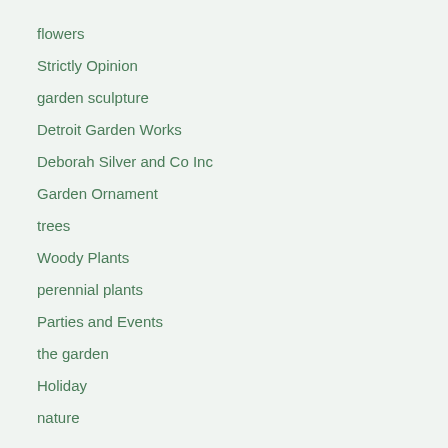flowers
Strictly Opinion
garden sculpture
Detroit Garden Works
Deborah Silver and Co Inc
Garden Ornament
trees
Woody Plants
perennial plants
Parties and Events
the garden
Holiday
nature